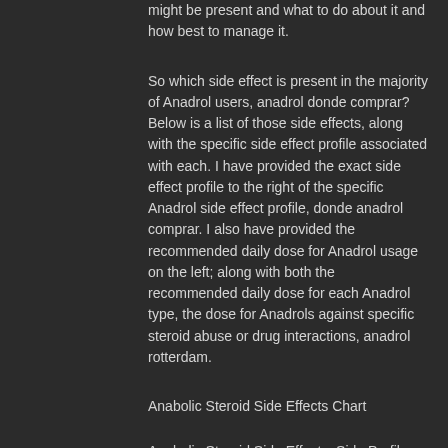might be present and what to do about it and how best to manage it.
So which side effect is present in the majority of Anadrol users, anadrol donde comprar? Below is a list of those side effects, along with the specific side effect profile associated with each. I have provided the exact side effect profile to the right of the specific Anadrol side effect profile, donde anadrol comprar. I also have provided the recommended daily dose for Anadrol usage on the left; along with both the recommended daily dose for each Anadrol type, the dose for Anadrols against specific steroid abuse or drug interactions, anadrol rotterdam.
Anabolic Steroid Side Effects Chart
Anabolic Steroid Side Effects, Side Profile Chart